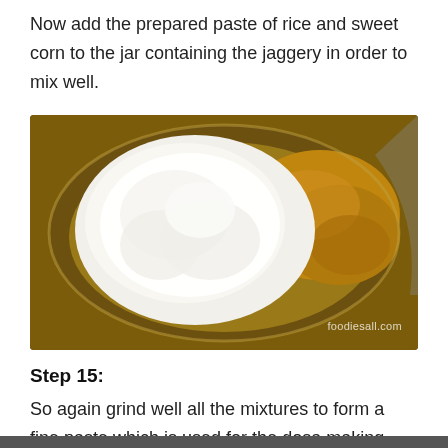Now add the prepared paste of rice and sweet corn to the jar containing the jaggery in order to mix well.
[Figure (photo): Overhead view of a grinding jar containing a white rice and sweet corn paste mixture alongside brown jaggery paste, with watermark 'foodiesall.com']
Step 15:
So again grind well all the mixtures to form a fine paste which is used for the dosa making with this prepared one.